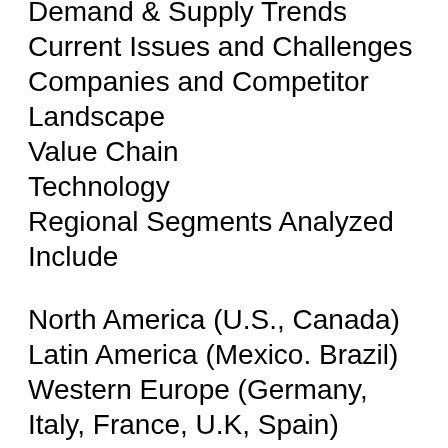Demand & Supply Trends
Current Issues and Challenges
Companies and Competitor Landscape
Value Chain
Technology
Regional Segments Analyzed Include
North America (U.S., Canada)
Latin America (Mexico. Brazil)
Western Europe (Germany, Italy, France, U.K, Spain)
Eastern Europe (Poland, Russia)
Asia Pacific (China, India, ASEAN, Australia & New Zealand)
Japan
Middle East and Africa (GCC, S. Africa, N. Africa)